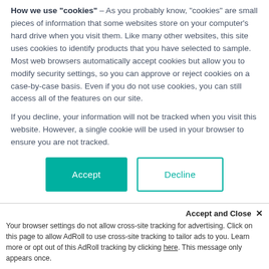How we use "cookies" – As you probably know, "cookies" are small pieces of information that some websites store on your computer's hard drive when you visit them. Like many other websites, this site uses cookies to identify products that you have selected to sample. Most web browsers automatically accept cookies but allow you to modify security settings, so you can approve or reject cookies on a case-by-case basis. Even if you do not use cookies, you can still access all of the features on our site.
If you decline, your information will not be tracked when you visit this website. However, a single cookie will be used in your browser to ensure you are not tracked.
Accept | Decline
PharmaLok™ Tube Clamp, White
Accept and Close ✕ Your browser settings do not allow cross-site tracking for advertising. Click on this page to allow AdRoll to use cross-site tracking to tailor ads to you. Learn more or opt out of this AdRoll tracking by clicking here. This message only appears once.